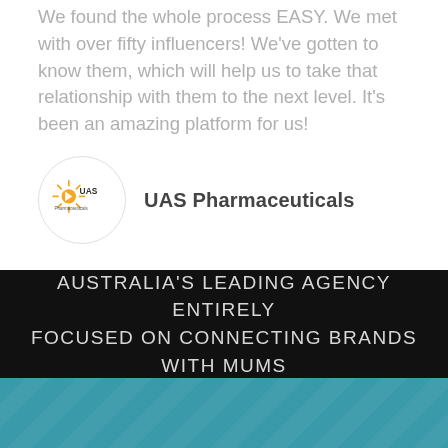We found the whole process EASY. We met with over fifty influencers! We've gotten to know them, which will help us to take that relationship with them to the next level. It's been an amazing platform for us!
[Figure (logo): UAS Pharmaceuticals company logo in a circle]
UAS Pharmaceuticals
AUSTRALIA'S LEADING AGENCY ENTIRELY FOCUSED ON CONNECTING BRANDS WITH MUMS
[Figure (photo): Teal/aqua colored background section with subtle pattern]